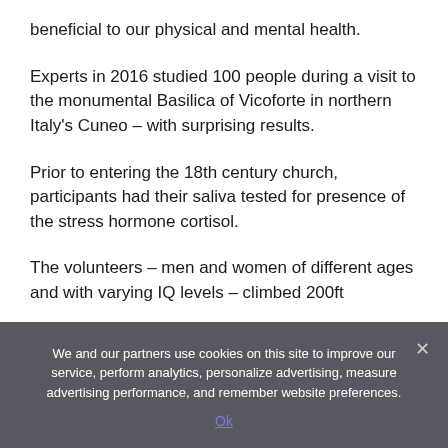beneficial to our physical and mental health.
Experts in 2016 studied 100 people during a visit to the monumental Basilica of Vicoforte in northern Italy's Cuneo – with surprising results.
Prior to entering the 18th century church, participants had their saliva tested for presence of the stress hormone cortisol.
The volunteers – men and women of different ages and with varying IQ levels – climbed 200ft
We and our partners use cookies on this site to improve our service, perform analytics, personalize advertising, measure advertising performance, and remember website preferences.
Ok